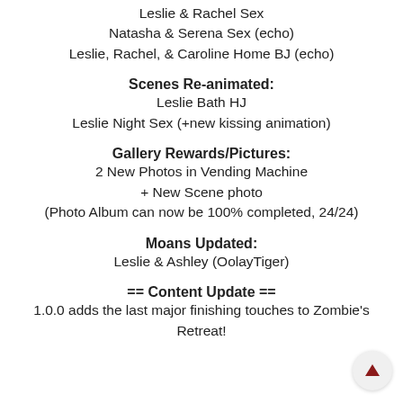Leslie & Rachel Sex
Natasha & Serena Sex (echo)
Leslie, Rachel, & Caroline Home BJ (echo)
Scenes Re-animated:
Leslie Bath HJ
Leslie Night Sex (+new kissing animation)
Gallery Rewards/Pictures:
2 New Photos in Vending Machine
+ New Scene photo
(Photo Album can now be 100% completed, 24/24)
Moans Updated:
Leslie & Ashley (OolayTiger)
== Content Update ==
1.0.0 adds the last major finishing touches to Zombie's Retreat!